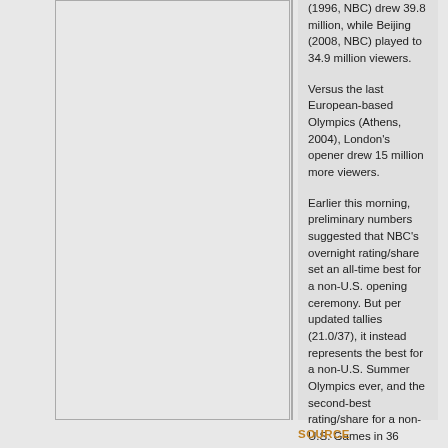(1996, NBC) drew 39.8 million, while Beijing (2008, NBC) played to 34.9 million viewers.
Versus the last European-based Olympics (Athens, 2004), London's opener drew 15 million more viewers.
Earlier this morning, preliminary numbers suggested that NBC's overnight rating/share set an all-time best for a non-U.S. opening ceremony. But per updated tallies (21.0/37), it instead represents the best for a non-U.S. Summer Olympics ever, and the second-best rating/share for a non-U.S. Games in 36 years (since Innsbruck, 1976).
SOURCE